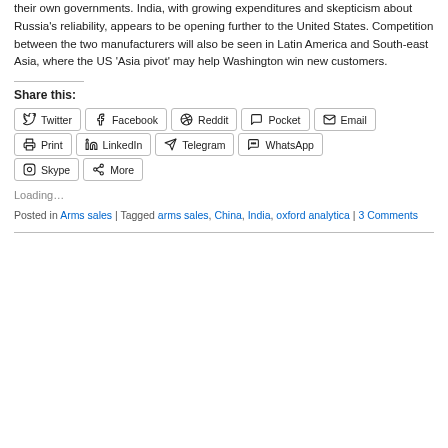their own governments. India, with growing expenditures and skepticism about Russia’s reliability, appears to be opening further to the United States. Competition between the two manufacturers will also be seen in Latin America and South-east Asia, where the US ‘Asia pivot’ may help Washington win new customers.
Share this:
Twitter
Facebook
Reddit
Pocket
Email
Print
LinkedIn
Telegram
WhatsApp
Skype
More
Loading...
Posted in Arms sales | Tagged arms sales, China, India, oxford analytica | 3 Comments